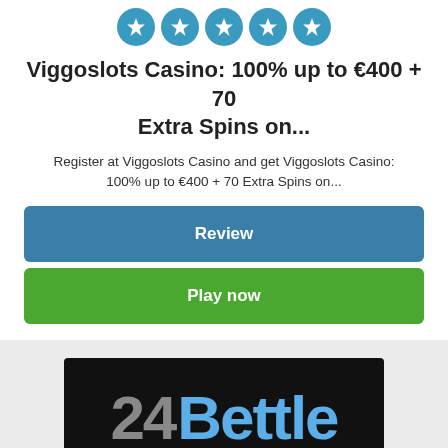[Figure (other): Five teal filled star rating circles (5 out of 5 stars) for Viggoslots Casino]
Viggoslots Casino: 100% up to €400 + 70 Extra Spins on...
Register at Viggoslots Casino and get Viggoslots Casino: 100% up to €400 + 70 Extra Spins on...
Review
Play now
[Figure (logo): 24Bettle casino logo — black background with '24' in grey and 'Bettle' in blue]
[Figure (other): Three teal filled star circles and two empty star circles (3 out of 5 stars) for 24Bettle Casino]
24Bettle Casino: 100% up to €240 and...